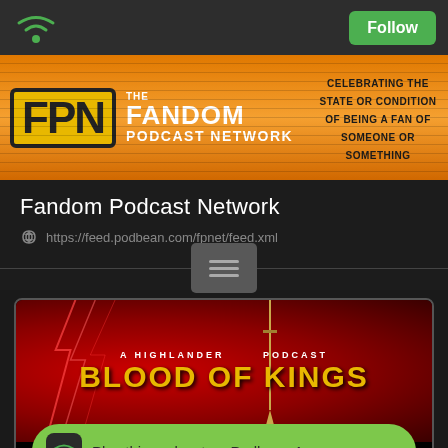[Figure (screenshot): Mobile app top navigation bar with WiFi icon on left and green Follow button on right]
[Figure (logo): Fandom Podcast Network (FPN) banner with orange/yellow background, FPN logo, THE FANDOM PODCAST NETWORK text, and tagline CELEBRATING THE STATE OR CONDITION OF BEING A FAN OF SOMEONE OR SOMETHING]
Fandom Podcast Network
https://feed.podbean.com/fpnet/feed.xml
[Figure (screenshot): Horizontal divider line with centered menu/list icon button]
[Figure (screenshot): Blood of Kings: A Highlander Podcast cover art with red/lightning background and gold sword, with Play this podcast on Podbean App green button below]